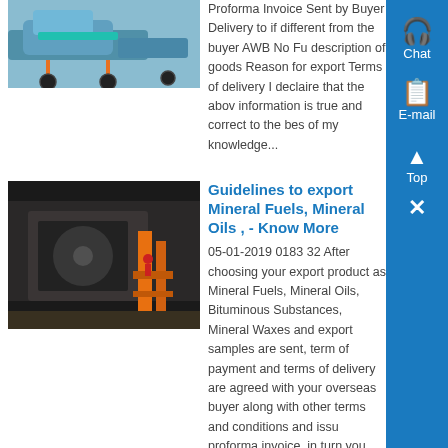[Figure (photo): Photo of a vehicle or aircraft with wheels/landing gear, blue and orange tones]
Proforma Invoice Sent by Buyer Delivery to if different from the buyer AWB No Fu description of goods Reason for export Terms of delivery I declaire that the abov information is true and correct to the bes of my knowledge...
[Figure (photo): Industrial/warehouse scene with large machinery, orange scaffolding, worker in red]
Guidelines to export Mineral Fuels, Mineral Oils , - Know More
05-01-2019 0183 32 After choosing your export product as Mineral Fuels, Mineral Oils, Bituminous Substances, Mineral Waxes and export samples are sent, term of payment and terms of delivery are agreed with your overseas buyer along with other terms and conditions and issu proforma invoice, in turn you receive
[Figure (other): Sidebar with blue background containing Chat icon, E-mail icon, Top arrow button, and Close X button]